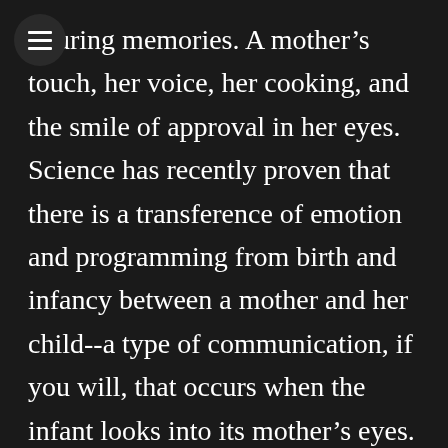nduring memories. A mother’s touch, her voice, her cooking, and the smile of approval in her eyes. Science has recently proven that there is a transference of emotion and programming from birth and infancy between a mother and her child--a type of communication, if you will, that occurs when the infant looks into its mother’s eyes. So what is this programming? How does it work and what effect does it have on the life of the child? What happens if it never happened to the infant? What happens if the mother is blind? These questions and more can be answered through a term called “triadic exchanges” in which infants learn social skills.
The gaze into a mother’s eyes brings security